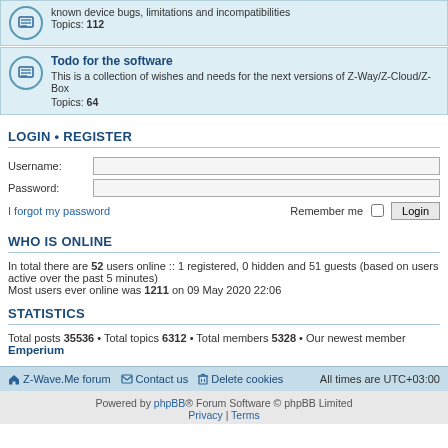known device bugs, limitations and incompatibilities Topics: 112
Todo for the software
This is a collection of wishes and needs for the next versions of Z-Way/Z-Cloud/Z-Box
Topics: 64
LOGIN • REGISTER
Username:
Password:
I forgot my password
Remember me
WHO IS ONLINE
In total there are 52 users online :: 1 registered, 0 hidden and 51 guests (based on users active over the past 5 minutes)
Most users ever online was 1211 on 09 May 2020 22:06
STATISTICS
Total posts 35536 • Total topics 6312 • Total members 5328 • Our newest member Emperium
Z-Wave.Me forum  Contact us  Delete cookies  All times are UTC+03:00
Powered by phpBB® Forum Software © phpBB Limited
Privacy | Terms